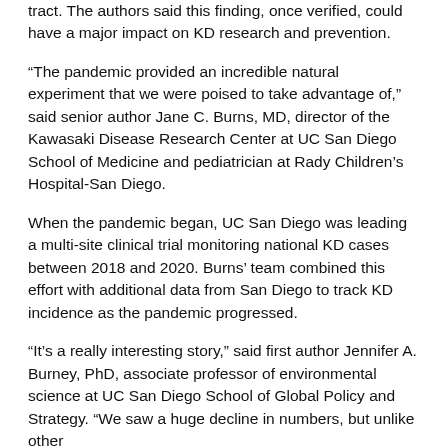tract. The authors said this finding, once verified, could have a major impact on KD research and prevention.
“The pandemic provided an incredible natural experiment that we were poised to take advantage of,” said senior author Jane C. Burns, MD, director of the Kawasaki Disease Research Center at UC San Diego School of Medicine and pediatrician at Rady Children’s Hospital-San Diego.
When the pandemic began, UC San Diego was leading a multi-site clinical trial monitoring national KD cases between 2018 and 2020. Burns’ team combined this effort with additional data from San Diego to track KD incidence as the pandemic progressed.
“It’s a really interesting story,” said first author Jennifer A. Burney, PhD, associate professor of environmental science at UC San Diego School of Global Policy and Strategy. “We saw a huge decline in numbers, but unlike other